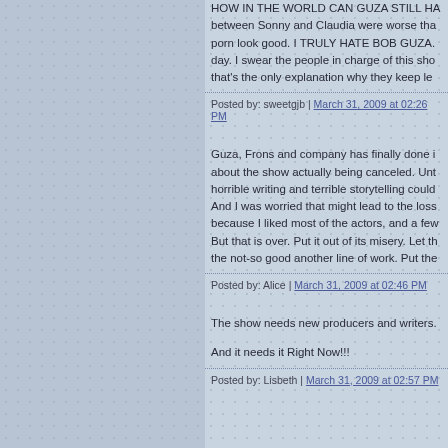HOW IN THE WORLD CAN GUZA STILL HA between Sonny and Claudia were worse tha porn look good. I TRULY HATE BOB GUZA. day. I swear the people in charge of this sho that's the only explanation why they keep le
Posted by: sweetgjb | March 31, 2009 at 02:26 PM
Guza, Frons and company has finally done i about the show actually being canceled. Unt horrible writing and terrible storytelling could And I was worried that might lead to the loss because I liked most of the actors, and a few But that is over. Put it out of its misery. Let th the not-so good another line of work. Put the
Posted by: Alice | March 31, 2009 at 02:46 PM
The show needs new producers and writers.
And it needs it Right Now!!!
Posted by: Lisbeth | March 31, 2009 at 02:57 PM